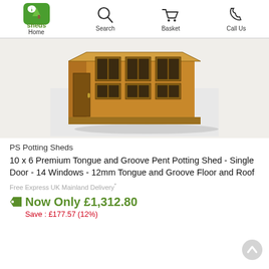Home | Search | Basket | Call Us
[Figure (photo): Wooden 10x6 Premium Tongue and Groove Pent Potting Shed with single door and multiple windows]
PS Potting Sheds
10 x 6 Premium Tongue and Groove Pent Potting Shed - Single Door - 14 Windows - 12mm Tongue and Groove Floor and Roof
Free Express UK Mainland Delivery*
Now Only £1,312.80
Save : £177.57 (12%)